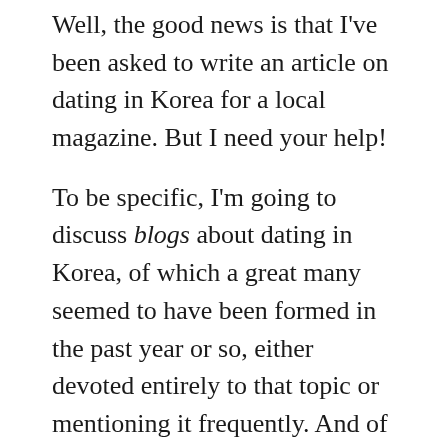Well, the good news is that I've been asked to write an article on dating in Korea for a local magazine. But I need your help!
To be specific, I'm going to discuss blogs about dating in Korea, of which a great many seemed to have been formed in the past year or so, either devoted entirely to that topic or mentioning it frequently. And of these, the vast majority seem to be by women, which leads me to the following questions that I can't answer by myself:
1. Do you also think that there has been a big increase in their numbers? How about those written by women in general? Of